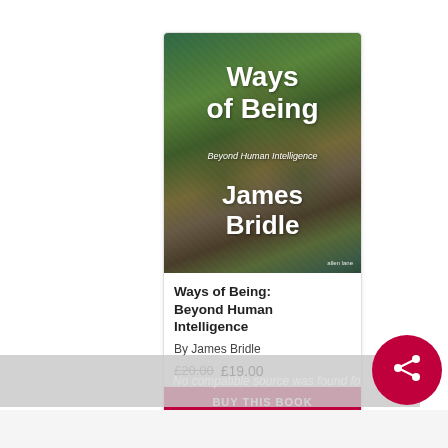[Figure (illustration): Book cover for 'Ways of Being: Beyond Human Intelligence' by James Bridle. Green/brown textured abstract cover with white title text and author name.]
Ways of Being: Beyond Human Intelligence
By James Bridle
£20.00 £19.00
No compatible source was found fo
BUY THIS BOOK